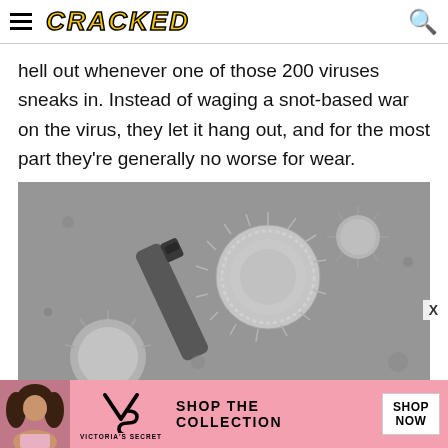CRACKED
hell out whenever one of those 200 viruses sneaks in. Instead of waging a snot-based war on the virus, they let it hang out, and for the most part they're generally no worse for wear.
[Figure (photo): Black and white electron microscope image of virus particles with spiky/fuzzy spherical shapes, with a bottle or cylinder visible among them.]
[Figure (other): Victoria's Secret advertisement banner with woman, VS logo, 'SHOP THE COLLECTION' text and 'SHOP NOW' button on pink background.]